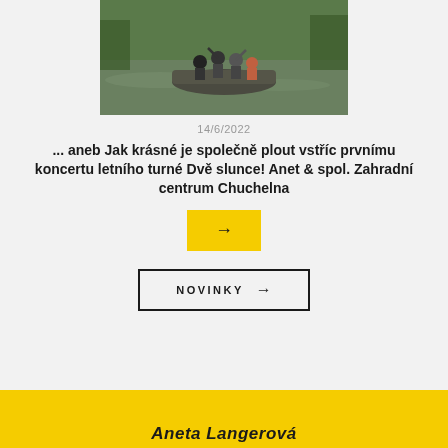[Figure (photo): People on a boat on a lake/river, waving]
14/6/2022
... aneb Jak krásné je společně plout vstříc prvnímu koncertu letního turné Dvě slunce! Anet & spol. Zahradní centrum Chuchelna
[Figure (other): Yellow button with right arrow]
NOVINKY →
Aneta Langerová